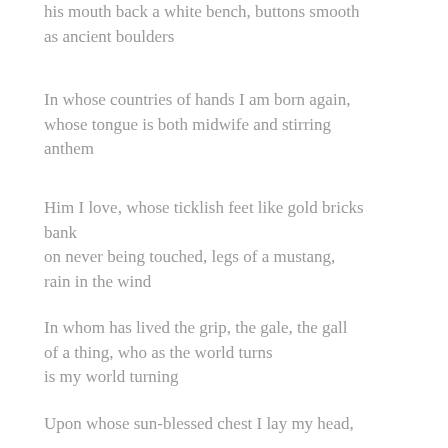his mouth back a white bench, buttons smooth as ancient boulders
In whose countries of hands I am born again, whose tongue is both midwife and stirring anthem
Him I love, whose ticklish feet like gold bricks bank
on never being touched, legs of a mustang,
rain in the wind
In whom has lived the grip, the gale, the gall of a thing, who as the world turns is my world turning
Upon whose sun-blessed chest I lay my head,